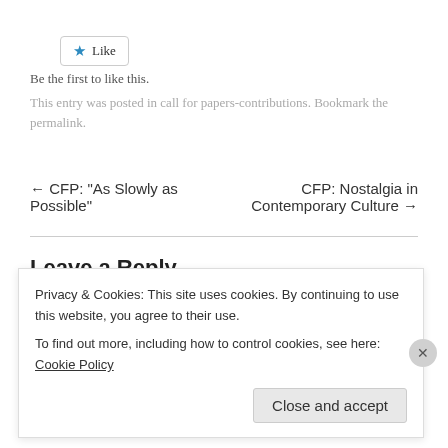[Figure (other): Like button with blue star icon and 'Like' text, rounded rectangular border]
Be the first to like this.
This entry was posted in call for papers-contributions. Bookmark the permalink.
← CFP: “As Slowly as Possible”    CFP: Nostalgia in Contemporary Culture →
Leave a Reply
Your email address will not be published. Required fields are
Privacy & Cookies: This site uses cookies. By continuing to use this website, you agree to their use.
To find out more, including how to control cookies, see here: Cookie Policy
Close and accept